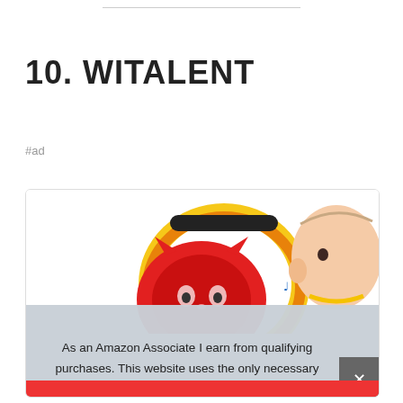10. WITALENT
#ad
[Figure (photo): Product card showing a colorful children's toy (steering wheel with cat face, yellow ring, musical notes) and a baby looking at it]
As an Amazon Associate I earn from qualifying purchases. This website uses the only necessary cookies to ensure you get the best experience on our website. More information